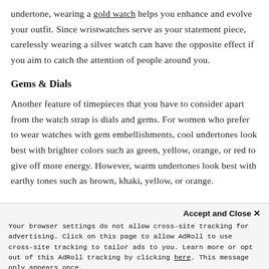undertone, wearing a gold watch helps you enhance and evolve your outfit. Since wristwatches serve as your statement piece, carelessly wearing a silver watch can have the opposite effect if you aim to catch the attention of people around you.
Gems & Dials
Another feature of timepieces that you have to consider apart from the watch strap is dials and gems. For women who prefer to wear watches with gem embellishments, cool undertones look best with brighter colors such as green, yellow, orange, or red to give off more energy. However, warm undertones look best with earthy tones such as brown, khaki, yellow, or orange.
Accept and Close ✕
Your browser settings do not allow cross-site tracking for advertising. Click on this page to allow AdRoll to use cross-site tracking to tailor ads to you. Learn more or opt out of this AdRoll tracking by clicking here. This message only appears once.